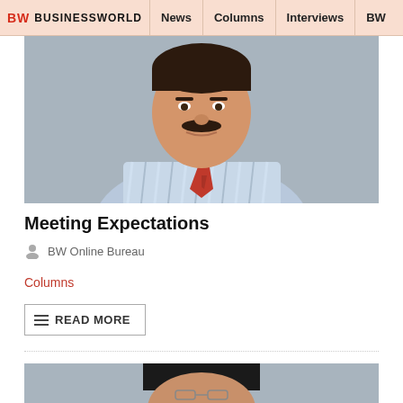BW BUSINESSWORLD | News | Columns | Interviews | BW
[Figure (photo): Headshot of a man in a striped shirt and red tie against a grey background]
Meeting Expectations
BW Online Bureau
Columns
READ MORE
[Figure (photo): Headshot of a man wearing glasses against a grey background]